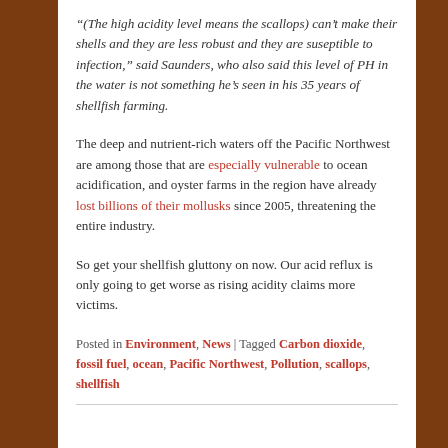“(The high acidity level means the scallops) can’t make their shells and they are less robust and they are suseptible to infection,” said Saunders, who also said this level of PH in the water is not something he’s seen in his 35 years of shellfish farming.
The deep and nutrient-rich waters off the Pacific Northwest are among those that are especially vulnerable to ocean acidification, and oyster farms in the region have already lost billions of their mollusks since 2005, threatening the entire industry.
So get your shellfish gluttony on now. Our acid reflux is only going to get worse as rising acidity claims more victims.
Posted in Environment, News | Tagged Carbon dioxide, fossil fuel, ocean, Pacific Northwest, Pollution, scallops, shellfish